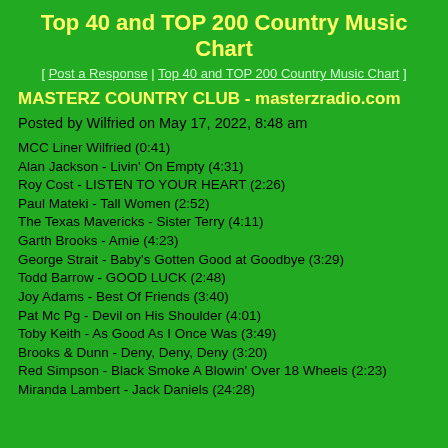Top 40 and TOP 200 Country Music Chart
[ Post a Response | Top 40 and TOP 200 Country Music Chart ]
MASTERZ COUNTRY CLUB - masterzradio.com
Posted by Wilfried on May 17, 2022, 8:48 am
MCC Liner Wilfried (0:41)
Alan Jackson - Livin' On Empty (4:31)
Roy Cost - LISTEN TO YOUR HEART (2:26)
Paul Mateki - Tall Women (2:52)
The Texas Mavericks - Sister Terry (4:11)
Garth Brooks - Amie (4:23)
George Strait - Baby's Gotten Good at Goodbye (3:29)
Todd Barrow - GOOD LUCK (2:48)
Joy Adams - Best Of Friends (3:40)
Pat Mc Pg - Devil on His Shoulder (4:01)
Toby Keith - As Good As I Once Was (3:49)
Brooks & Dunn - Deny, Deny, Deny (3:20)
Red Simpson - Black Smoke A Blowin' Over 18 Wheels (2:23)
Miranda Lambert - Jack Daniels (24:28)